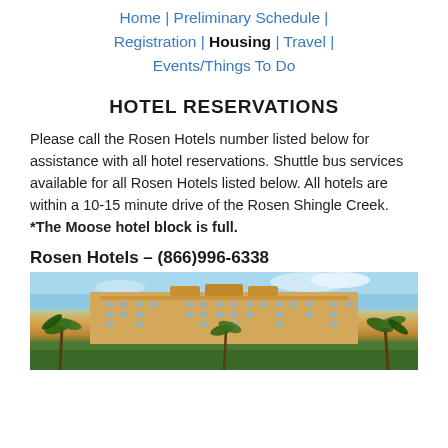Home | Preliminary Schedule | Registration | Housing | Travel | Events/Things To Do
HOTEL RESERVATIONS
Please call the Rosen Hotels number listed below for assistance with all hotel reservations. Shuttle bus services available for all Rosen Hotels listed below. All hotels are within a 10-15 minute drive of the Rosen Shingle Creek. *The Moose hotel block is full.
Rosen Hotels – (866)996-6338
[Figure (photo): Exterior photo of a large resort hotel building with palm trees in the foreground and blue sky in the background]